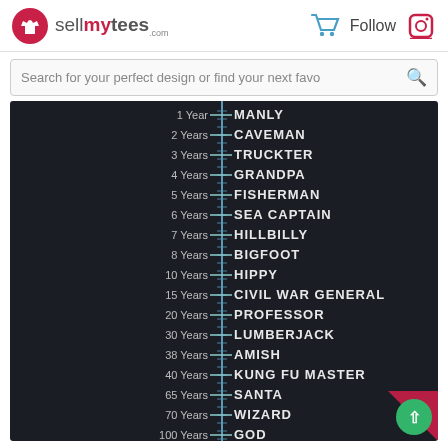sellmytees.com
Search for your perfect design or find your next favo
[Figure (infographic): A vertical ruler/timeline showing beard length in years mapped to beard style names. Years listed: 1 Year=MANLY, 2 Years=CAVEMAN, 3 Years=TRUCKTER, 4 Years=GRANDPA, 5 Years=FISHERMAN, 6 Years=SEA CAPTAIN, 7 Years=HILLBILLY, 8 Years=BIGFOOT, 10 Years=HIPPY, 15 Years=CIVIL WAR GENERAL, 20 Years=PROFESSOR, 30 Years=LUMBERJACK, 38 Years=AMISH, 40 Years=KUNG FU MASTER, 65 Years=SANTA, 70 Years=WIZARD, 100 Years=GOD]